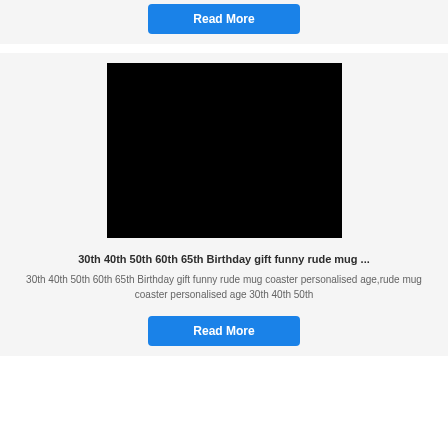Read More
[Figure (photo): Black product image placeholder for birthday gift mug coaster]
30th 40th 50th 60th 65th Birthday gift funny rude mug ...
30th 40th 50th 60th 65th Birthday gift funny rude mug coaster personalised age,rude mug coaster personalised age 30th 40th 50th
Read More